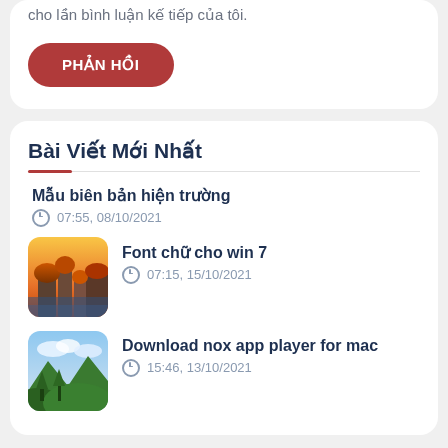cho lần bình luận kế tiếp của tôi.
PHẢN HỒI
Bài Viết Mới Nhất
Mẫu biên bản hiện trường
07:55, 08/10/2021
[Figure (photo): Thumbnail of autumn landscape with cliffs and trees]
Font chữ cho win 7
07:15, 15/10/2021
[Figure (photo): Thumbnail of green landscape with mountains and clouds]
Download nox app player for mac
15:46, 13/10/2021